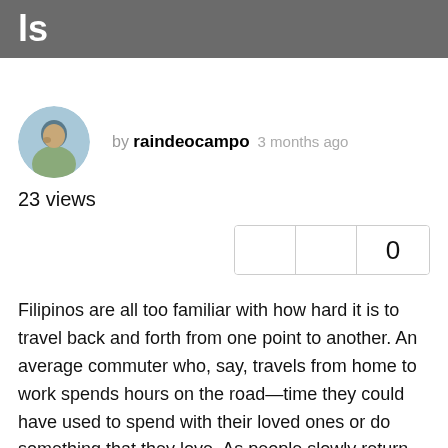ls
by raindeocampo 3 months ago
23 views
0
Filipinos are all too familiar with how hard it is to travel back and forth from one point to another. An average commuter who, say, travels from home to work spends hours on the road—time they could have used to spend with their loved ones or do something that they love. As people slowly return physically to their offices, expect to have the country's roads clog up once more like they did pre-pandemic.